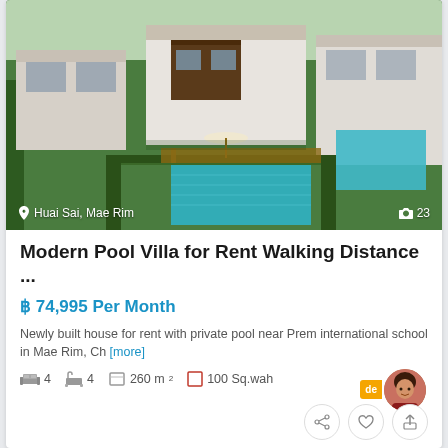[Figure (photo): Aerial view of a modern white pool villa with private swimming pool, wooden deck with umbrella, surrounded by green hedges and lawns. Location: Huai Sai, Mae Rim. Photo count: 23.]
Modern Pool Villa for Rent Walking Distance ...
฿ 74,995 Per Month
Newly built house for rent with private pool near Prem international school in Mae Rim, Ch [more]
4 bedrooms  4 bathrooms  260 m²  100 Sq.wah